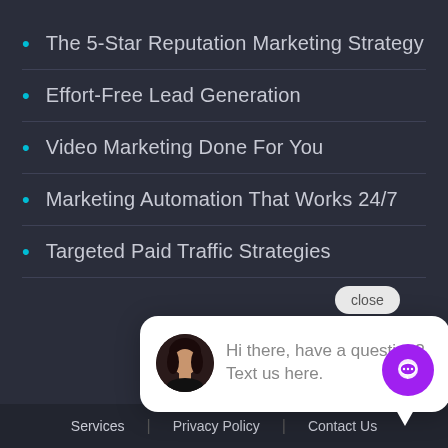The 5-Star Reputation Marketing Strategy
Effort-Free Lead Generation
Video Marketing Done For You
Marketing Automation That Works 24/7
Targeted Paid Traffic Strategies
[Figure (screenshot): Chat popup with avatar photo and text: Hi there, have a question? Text us here. Close button above popup. Purple chat FAB button bottom right.]
Services | Privacy Policy | Contact Us